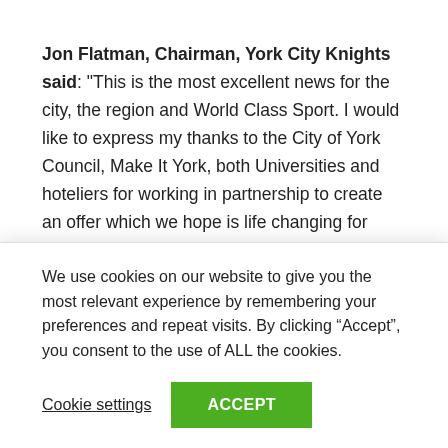Jon Flatman, Chairman, York City Knights said: "This is the most excellent news for the city, the region and World Class Sport. I would like to express my thanks to the City of York Council, Make It York, both Universities and hoteliers for working in partnership to create an offer which we hope is life changing for local residents and the wider community. York is the most wonderful city to live, learn and enjoy and I am sure the region will take all of the teams to heart and make them very welcome. Our combined challenge is to create a long lasting legacy for sport, health, business and community cohesion. Visiting teams, we welcome you to a host city...
We use cookies on our website to give you the most relevant experience by remembering your preferences and repeat visits. By clicking “Accept”, you consent to the use of ALL the cookies.
Cookie settings
ACCEPT